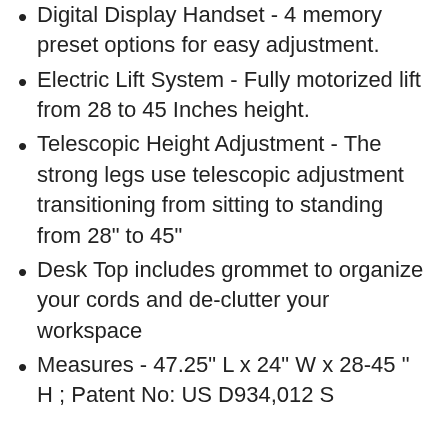Digital Display Handset - 4 memory preset options for easy adjustment.
Electric Lift System - Fully motorized lift from 28 to 45 Inches height.
Telescopic Height Adjustment - The strong legs use telescopic adjustment transitioning from sitting to standing from 28" to 45"
Desk Top includes grommet to organize your cords and de-clutter your workspace
Measures - 47.25" L x 24" W x 28-45 " H ; Patent No: US D934,012 S